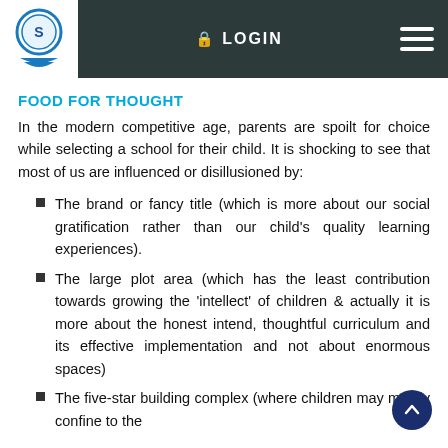LOGIN
FOOD FOR THOUGHT
In the modern competitive age, parents are spoilt for choice while selecting a school for their child. It is shocking to see that most of us are influenced or disillusioned by:
The brand or fancy title (which is more about our social gratification rather than our child's quality learning experiences).
The large plot area (which has the least contribution towards growing the 'intellect' of children & actually it is more about the honest intend, thoughtful curriculum and its effective implementation and not about enormous spaces)
The five-star building complex (where children may mostly confine to the